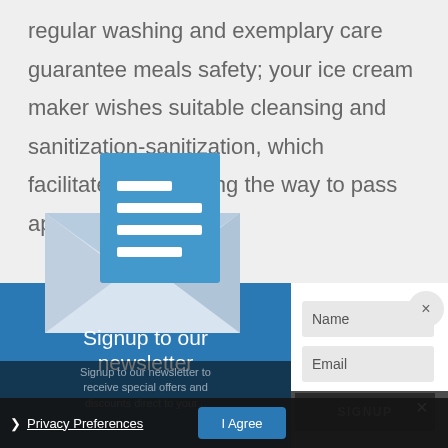regular washing and exemplary care guarantee meals safety; your ice cream maker wishes suitable cleansing and sanitization-sanitization, which facilitates recognizing the way to pass approximately it. So,
[Figure (screenshot): Newsletter signup modal overlay with envelope icon on blue background (left panel), form fields for Name and Email (right panel), SIGNUP button, and a privacy preferences bar with I Agree button at the bottom. An X close button appears in the top right corner.]